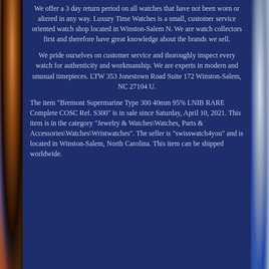We offer a 3 day return period on all watches that have not been worn or altered in any way. Luxury Time Watches is a small, customer service oriented watch shop located in Winston-Salem N. We are watch collectors first and therefore have great knowledge about the brands we sell.

We pride ourselves on customer service and thoroughly inspect every watch for authenticity and workmanship. We are experts in modern and unusual timepieces. LTW 353 Jonestown Road Suite 172 Winston-Salem, NC 27104 U.

The item "Bremont Supermarine Type 300 40mm 95% LNIB RARE Complete COSC Ref. S300" is in sale since Saturday, April 10, 2021. This item is in the category "Jewelry & Watches\Watches, Parts & Accessories\Watches\Wristwatches". The seller is "swisswatch4you" and is located in Winston-Salem, North Carolina. This item can be shipped worldwide.